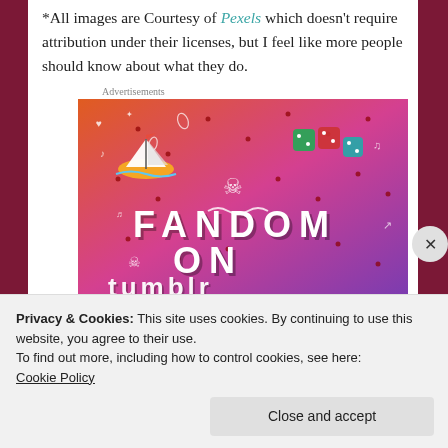*All images are Courtesy of Pexels which doesn't require attribution under their licenses, but I feel like more people should know about what they do.
Advertisements
[Figure (illustration): A colorful Tumblr advertisement showing the text 'FANDOM ON tumblr' with a gradient background from orange to purple, decorated with doodles including a sailboat, skulls, dice, hearts, music notes, and other icons.]
Privacy & Cookies: This site uses cookies. By continuing to use this website, you agree to their use. To find out more, including how to control cookies, see here: Cookie Policy
Close and accept